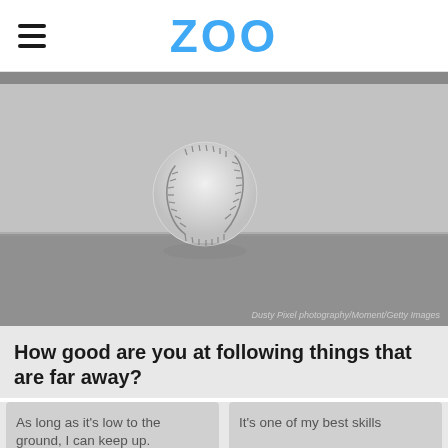ZOO
[Figure (photo): Black and white photo of a baseball in mid-air above a baseball field, with a blurred background showing the field ground. Photo credit: Dusty Pixel photography/Moment/Getty Images]
Dusty Pixel photography/Moment/Getty Images
How good are you at following things that are far away?
As long as it's low to the ground, I can keep up.
It's one of my best skills